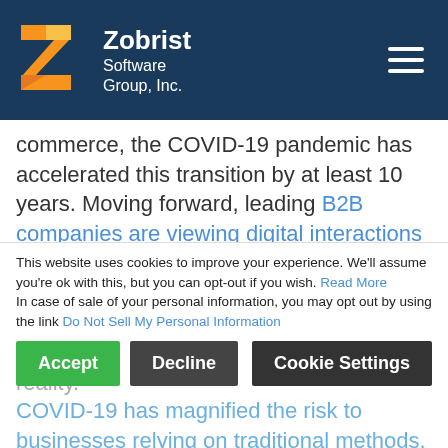[Figure (logo): Zobrist Software Group, Inc. logo with orange/yellow Z shape and white text on dark blue header background]
commerce, the COVID-19 pandemic has accelerated this transition by at least 10 years. Moving forward, leading B2B companies are viewing digital interactions as two to three times more important than traditional sales approaches. This applies to both sellers and customers, therefore B2B sales solutions should consider this reality.
To save your business can recover from this crisis, making the digital experience at the center of your growth strategy.
This website uses cookies to improve your experience. We'll assume you're ok with this, but you can opt-out if you wish. Read More In case of sale of your personal information, you may opt out by using the link Do Not Sell My Personal Information
COVID-19 has magnified the risk to businesses relying on traditional methods. Travel, face-to-face